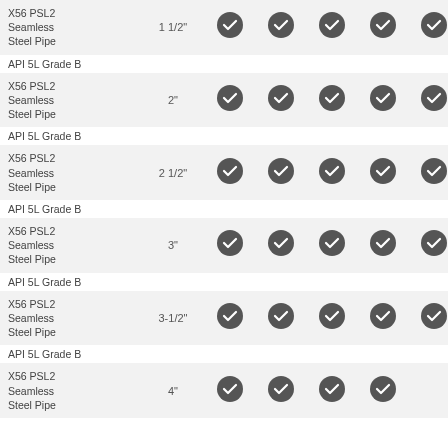| Description | Size | Col1 | Col2 | Col3 | Col4 | Col5 |
| --- | --- | --- | --- | --- | --- | --- |
| API 5L Grade B X56 PSL2 Seamless Steel Pipe | 1 1/2" | ✓ | ✓ | ✓ | ✓ | ✓ |
| API 5L Grade B X56 PSL2 Seamless Steel Pipe | 2" | ✓ | ✓ | ✓ | ✓ | ✓ |
| API 5L Grade B X56 PSL2 Seamless Steel Pipe | 2 1/2" | ✓ | ✓ | ✓ | ✓ | ✓ |
| API 5L Grade B X56 PSL2 Seamless Steel Pipe | 3" | ✓ | ✓ | ✓ | ✓ | ✓ |
| API 5L Grade B X56 PSL2 Seamless Steel Pipe | 3-1/2" | ✓ | ✓ | ✓ | ✓ | ✓ |
| API 5L Grade B X56 PSL2 Seamless Steel Pipe | 4" | ✓ | ✓ | ✓ | ✓ |  |